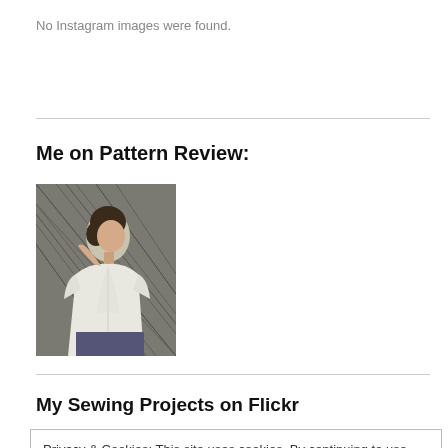No Instagram images were found.
Me on Pattern Review:
[Figure (photo): A photo of a person wearing a white blouse, posed against a dark lattice background. Profile/side view.]
My Sewing Projects on Flickr
Privacy & Cookies: This site uses cookies. By continuing to use this website, you agree to their use.
To find out more, including how to control cookies, see here: Cookie Policy
Close and accept